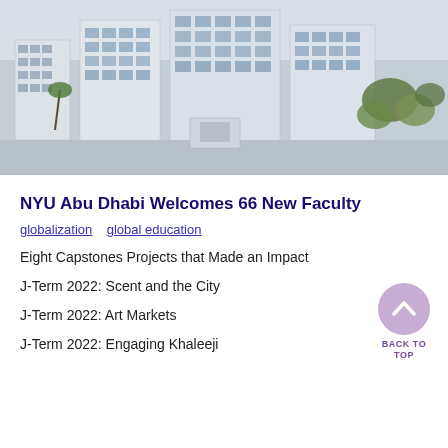[Figure (photo): Aerial view of NYU Abu Dhabi campus buildings, white multi-story structures with trees and landscaping visible.]
NYU Abu Dhabi Welcomes 66 New Faculty
globalization  global education
Eight Capstones Projects that Made an Impact
J-Term 2022: Scent and the City
J-Term 2022: Art Markets
J-Term 2022: Engaging Khaleeji